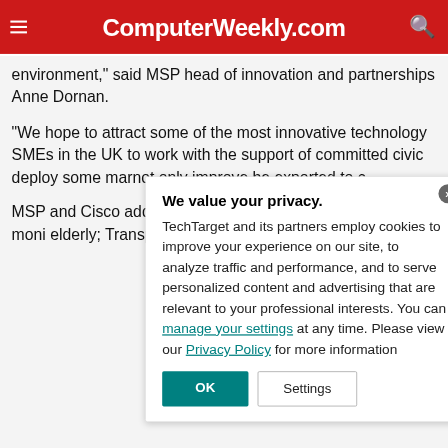ComputerWeekly.com
environment," said MSP head of innovation and partnerships Anne Dornan.
“We hope to attract some of the most innovative technology SMEs in the UK to work with the support of committed civic [leaders, helping them to] deploy some ma[rket-tested innovations that will] not only improve [services in Greater Manchester but] be exported to c[ities across the world.]
MSP and Cisco [are] address: Health [challenges in Greater] Manchester to b[e addressed include remote] from home moni[toring solutions for the] elderly; Transpo[rtation solutions] for Greater Man[chester; and projects that will] either improve p[ublic services or reduce costs.]
We value your privacy.
TechTarget and its partners employ cookies to improve your experience on our site, to analyze traffic and performance, and to serve personalized content and advertising that are relevant to your professional interests. You can manage your settings at any time. Please view our Privacy Policy for more information